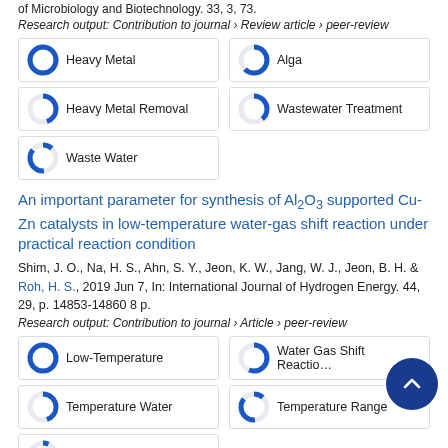of Microbiology and Biotechnology. 33, 3, 73.
Research output: Contribution to journal › Review article › peer-review
Heavy Metal
Alga
Heavy Metal Removal
Wastewater Treatment
Waste Water
An important parameter for synthesis of Al2O3 supported Cu-Zn catalysts in low-temperature water-gas shift reaction under practical reaction condition
Shim, J. O., Na, H. S., Ahn, S. Y., Jeon, K. W., Jang, W. J., Jeon, B. H. & Roh, H. S., 2019 Jun 7, In: International Journal of Hydrogen Energy. 44, 29, p. 14853-14860 8 p.
Research output: Contribution to journal › Article › peer-review
Low-Temperature
Water Gas Shift Reaction
Temperature Water
Temperature Range
Temperature Condition